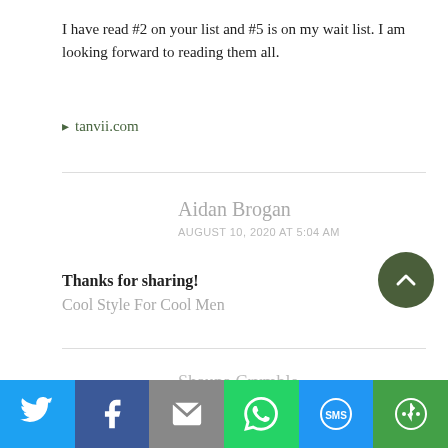I have read #2 on your list and #5 is on my wait list. I am looking forward to reading them all.
▶ tanvii.com
Aidan Brogan
AUGUST 10, 2020 AT 5:04 AM
Thanks for sharing!
Cool Style For Cool Men
Shauna Crymble
[Figure (infographic): Social share bar with Twitter, Facebook, Email, WhatsApp, SMS, and More buttons]